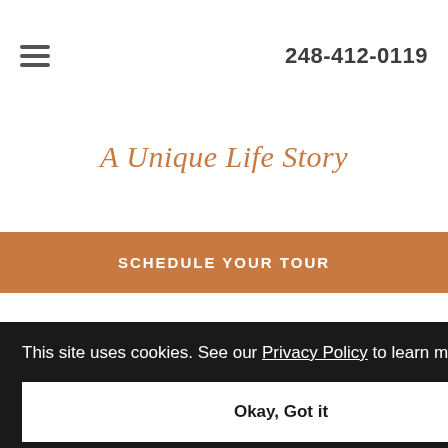248-412-0119
A Unique Life Story
SCHEDULE YOUR TOUR
This site uses cookies. See our Privacy Policy to learn more.
Okay, Got it